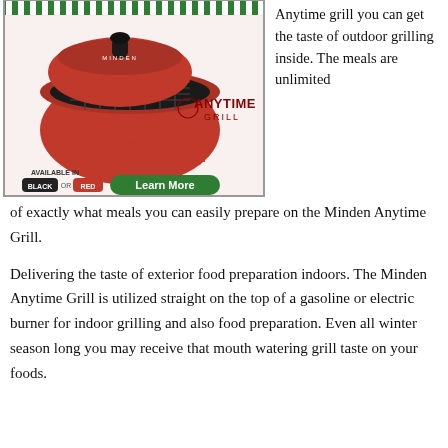[Figure (illustration): Advertisement for Minden Anytime Grill showing a red grill with lid open on a holiday-themed background. Text reads 'ANYTIME GRILL', 'Indoor Grilling All Winter Long!', 'AVAILABLE IN BLACK or RED', and a green 'Learn More' button.]
Anytime grill you can get the taste of outdoor grilling inside. The meals are unlimited of exactly what meals you can easily prepare on the Minden Anytime Grill.
Delivering the taste of exterior food preparation indoors. The Minden Anytime Grill is utilized straight on the top of a gasoline or electric burner for indoor grilling and also food preparation. Even all winter season long you may receive that mouth watering grill taste on your foods.